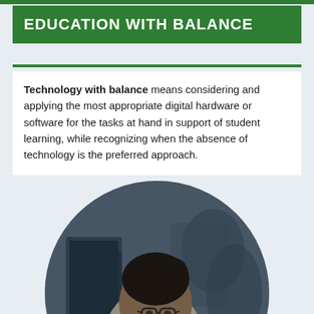EDUCATION WITH BALANCE
Technology with balance means considering and applying the most appropriate digital hardware or software for the tasks at hand in support of student learning, while recognizing when the absence of technology is the preferred approach.
[Figure (photo): Circular cropped photo of a student (young woman with glasses and hair up) using a computer in a classroom setting, with other students visible in the background.]